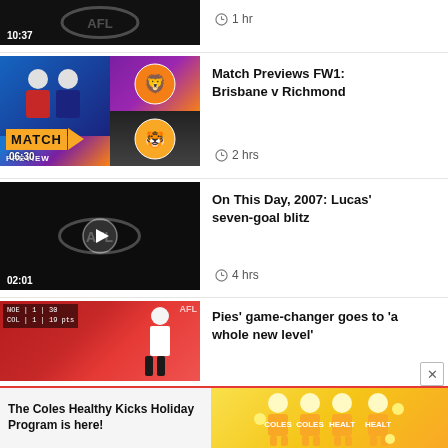[Figure (screenshot): Video thumbnail - dark background with AFL logo watermark, duration 10:37 shown]
1 hr
[Figure (screenshot): Video thumbnail for Match Previews FW1: Brisbane v Richmond, showing two commentators and team logos on blue/yellow background, duration 06:30]
Match Previews FW1: Brisbane v Richmond
2 hrs
[Figure (screenshot): Video thumbnail - dark background with AFL logo watermark and play button, duration 02:01]
On This Day, 2007: Lucas' seven-goal blitz
4 hrs
[Figure (screenshot): Video thumbnail showing a football match scene with score overlay, red background, no duration shown]
Pies' game-changer goes to 'a whole new level'
[Figure (infographic): Coles Healthy Kicks Holiday Program advertisement banner with yellow background and children in yellow shirts]
The Coles Healthy Kicks Holiday Program is here!